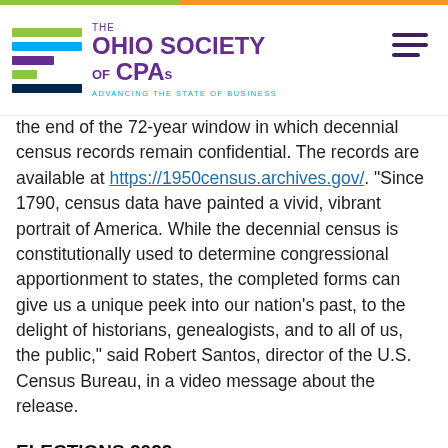THE OHIO SOCIETY OF CPAs — ADVANCING THE STATE OF BUSINESS
the end of the 72-year window in which decennial census records remain confidential. The records are available at https://1950census.archives.gov/. "Since 1790, census data have painted a vivid, vibrant portrait of America. While the decennial census is constitutionally used to determine congressional apportionment to states, the completed forms can give us a unique peek into our nation's past, to the delight of historians, genealogists, and to all of us, the public," said Robert Santos, director of the U.S. Census Bureau, in a video message about the release.
ELECTIONS 2022
Secretary of State Frank LaRose sent a letter to legislative leaders and Gov. Mike DeWine saying that a federal court brought on the schedule of further